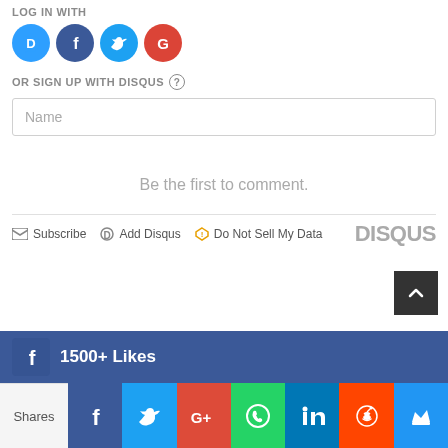LOG IN WITH
[Figure (other): Social login icons: Disqus (blue circle with D), Facebook (dark blue circle with f), Twitter (light blue circle with bird), Google (red circle with G)]
OR SIGN UP WITH DISQUS ?
Name
Be the first to comment.
Subscribe  Add Disqus  Do Not Sell My Data  DISQUS
[Figure (other): Back to top arrow button (dark background)]
[Figure (other): Facebook likes banner showing 1500+ Likes on blue background]
[Figure (other): Social share toolbar with icons for Facebook, Twitter, Google+, WhatsApp, LinkedIn, Reddit, and crown/other. Left shows Shares label.]